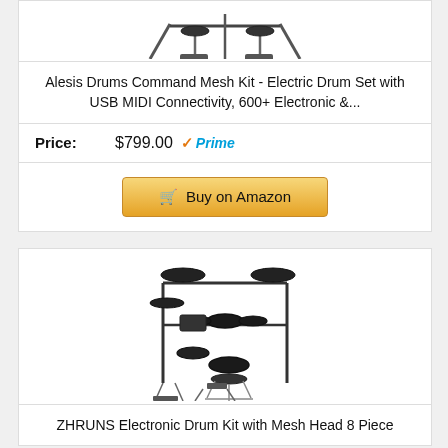[Figure (photo): Partial image of an electronic drum kit (Alesis Command Mesh Kit), partially visible at top]
Alesis Drums Command Mesh Kit - Electric Drum Set with USB MIDI Connectivity, 600+ Electronic &...
Price: $799.00 ✓Prime
Buy on Amazon
[Figure (photo): ZHRUNS Electronic Drum Kit with Mesh Head 8 Piece - full electronic drum set with cymbals, pads, rack, stool, and foot pedals]
ZHRUNS Electronic Drum Kit with Mesh Head 8 Piece